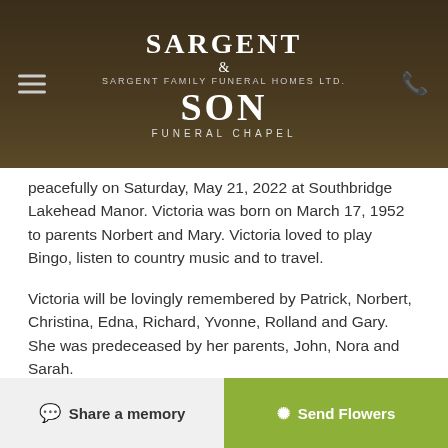Sargent & Son Funeral Chapel — Sargent Family Funeral Homes Ltd.
peacefully on Saturday, May 21, 2022 at Southbridge Lakehead Manor. Victoria was born on March 17, 1952 to parents Norbert and Mary. Victoria loved to play Bingo, listen to country music and to travel.
Victoria will be lovingly remembered by Patrick, Norbert, Christina, Edna, Richard, Yvonne, Rolland and Gary. She was predeceased by her parents, John, Nora and Sarah.
A visitation for family and friends will be held on Wednesday, May 25, 2022 from 2:00 - 3:00 p.m. in the Chapel of Sargent & Son Funeral Home. Victoria will be laid to rest in Armstrong, Ontario.
To send flowers to the family of Victoria Gouesh, please visit our Heartfelt Sympathies Store
Share a memory | Send Flowers